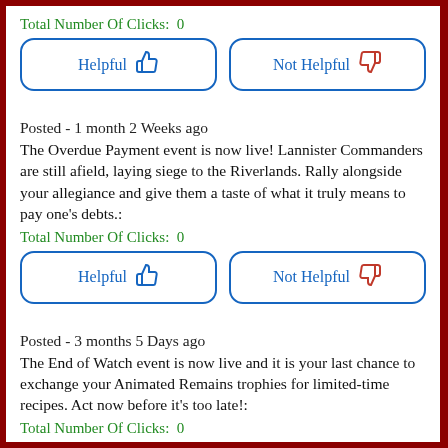Total Number Of Clicks:  0
[Figure (other): Helpful (thumbs up) and Not Helpful (thumbs down) buttons, blue border rounded rectangles]
Posted - 1 month 2 Weeks ago
The Overdue Payment event is now live! Lannister Commanders are still afield, laying siege to the Riverlands. Rally alongside your allegiance and give them a taste of what it truly means to pay one's debts.:
Total Number Of Clicks:  0
[Figure (other): Helpful (thumbs up) and Not Helpful (thumbs down) buttons, blue border rounded rectangles]
Posted - 3 months 5 Days ago
The End of Watch event is now live and it is your last chance to exchange your Animated Remains trophies for limited-time recipes. Act now before it's too late!:
Total Number Of Clicks:  0
[Figure (other): Helpful (thumbs up) and Not Helpful (thumbs down) buttons, blue border rounded rectangles]